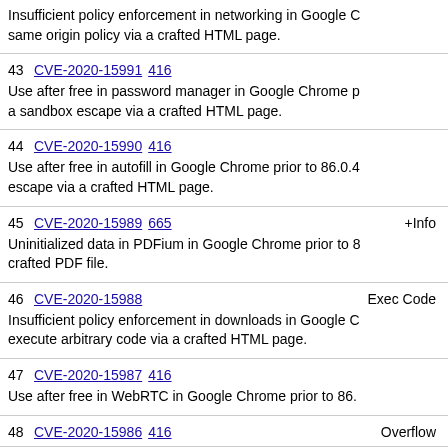Insufficient policy enforcement in networking in Google Chrome. same origin policy via a crafted HTML page.
43 CVE-2020-15991 416
Use after free in password manager in Google Chrome p a sandbox escape via a crafted HTML page.
44 CVE-2020-15990 416
Use after free in autofill in Google Chrome prior to 86.0.4 escape via a crafted HTML page.
45 CVE-2020-15989 665 +Info
Uninitialized data in PDFium in Google Chrome prior to 8 crafted PDF file.
46 CVE-2020-15988 Exec Code
Insufficient policy enforcement in downloads in Google C execute arbitrary code via a crafted HTML page.
47 CVE-2020-15987 416
Use after free in WebRTC in Google Chrome prior to 86.
48 CVE-2020-15986 416 Overflow